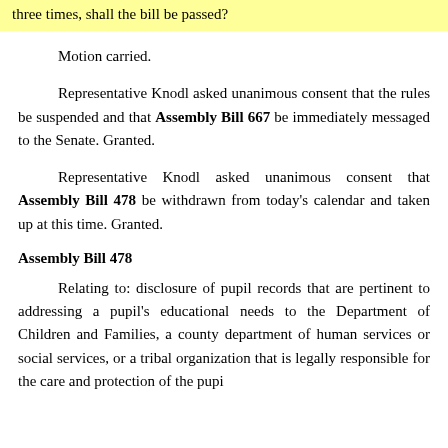three times, shall the bill be passed?
Motion carried.
Representative Knodl asked unanimous consent that the rules be suspended and that Assembly Bill 667 be immediately messaged to the Senate. Granted.
Representative Knodl asked unanimous consent that Assembly Bill 478 be withdrawn from today's calendar and taken up at this time. Granted.
Assembly Bill 478
Relating to: disclosure of pupil records that are pertinent to addressing a pupil's educational needs to the Department of Children and Families, a county department of human services or social services, or a tribal organization that is legally responsible for the care and protection of the pupi...